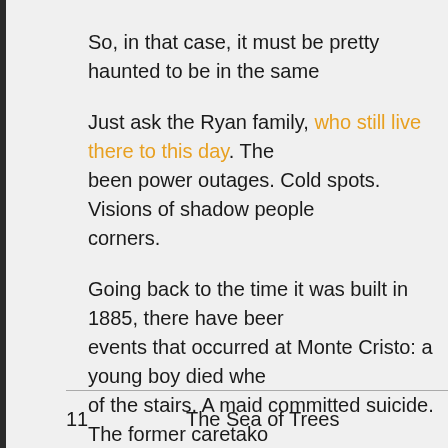So, in that case, it must be pretty haunted to be in the same...
Just ask the Ryan family, who still live there to this day. The... been power outages. Cold spots. Visions of shadow people... corners.
Going back to the time it was built in 1885, there have been... events that occurred at Monte Cristo: a young boy died whe... of the stairs. A maid committed suicide. The former caretake... in 1961. A young stable boy burned to death in his straw be... housekeeper was said to have kept his mentally unstable s... decades.
With this much paranormal activity going on, it's easy to see... among the other entries as one place you wouldn't want to...
11    The Sea of Trees